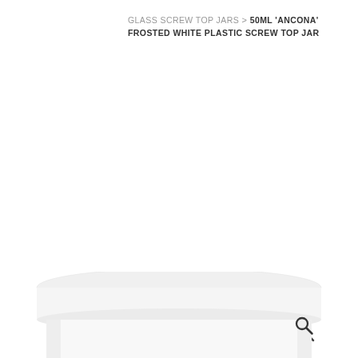GLASS SCREW TOP JARS > 50ML 'ANCONA' FROSTED WHITE PLASTIC SCREW TOP JAR
[Figure (photo): A frosted white plastic screw top jar (50ml Ancona) shown from slightly above, displaying the rounded lid and cylindrical body. The jar is white/frosted against a white background. A search icon (magnifying glass) is visible in the upper right area of the image.]